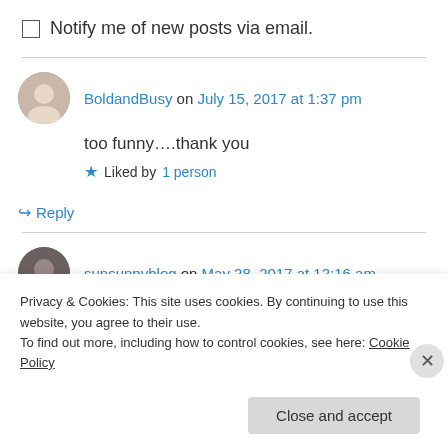Notify me of new posts via email.
BoldandBusy on July 15, 2017 at 1:37 pm
too funny….thank you
Liked by 1 person
Reply
sunsunnyblog on May 28, 2017 at 12:16 am
Privacy & Cookies: This site uses cookies. By continuing to use this website, you agree to their use. To find out more, including how to control cookies, see here: Cookie Policy
Close and accept